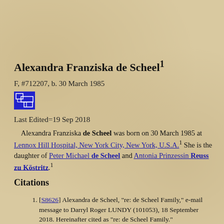Alexandra Franziska de Scheel1
F, #712207, b. 30 March 1985
Last Edited=19 Sep 2018
Alexandra Franziska de Scheel was born on 30 March 1985 at Lennox Hill Hospital, New York City, New York, U.S.A.1 She is the daughter of Peter Michael de Scheel and Antonia Prinzessin Reuss zu Köstritz.1
Citations
[S8626] Alexandra de Scheel, "re: de Scheel Family," e-mail message to Darryl Roger LUNDY (101053), 18 September 2018. Hereinafter cited as "re: de Scheel Family."